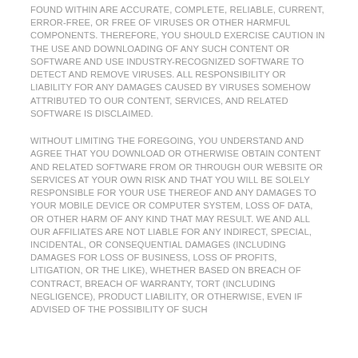FOUND WITHIN ARE ACCURATE, COMPLETE, RELIABLE, CURRENT, ERROR-FREE, OR FREE OF VIRUSES OR OTHER HARMFUL COMPONENTS. THEREFORE, YOU SHOULD EXERCISE CAUTION IN THE USE AND DOWNLOADING OF ANY SUCH CONTENT OR SOFTWARE AND USE INDUSTRY-RECOGNIZED SOFTWARE TO DETECT AND REMOVE VIRUSES. ALL RESPONSIBILITY OR LIABILITY FOR ANY DAMAGES CAUSED BY VIRUSES SOMEHOW ATTRIBUTED TO OUR CONTENT, SERVICES, AND RELATED SOFTWARE IS DISCLAIMED.
WITHOUT LIMITING THE FOREGOING, YOU UNDERSTAND AND AGREE THAT YOU DOWNLOAD OR OTHERWISE OBTAIN CONTENT AND RELATED SOFTWARE FROM OR THROUGH OUR WEBSITE OR SERVICES AT YOUR OWN RISK AND THAT YOU WILL BE SOLELY RESPONSIBLE FOR YOUR USE THEREOF AND ANY DAMAGES TO YOUR MOBILE DEVICE OR COMPUTER SYSTEM, LOSS OF DATA, OR OTHER HARM OF ANY KIND THAT MAY RESULT. WE AND ALL OUR AFFILIATES ARE NOT LIABLE FOR ANY INDIRECT, SPECIAL, INCIDENTAL, OR CONSEQUENTIAL DAMAGES (INCLUDING DAMAGES FOR LOSS OF BUSINESS, LOSS OF PROFITS, LITIGATION, OR THE LIKE), WHETHER BASED ON BREACH OF CONTRACT, BREACH OF WARRANTY, TORT (INCLUDING NEGLIGENCE), PRODUCT LIABILITY, OR OTHERWISE, EVEN IF ADVISED OF THE POSSIBILITY OF SUCH